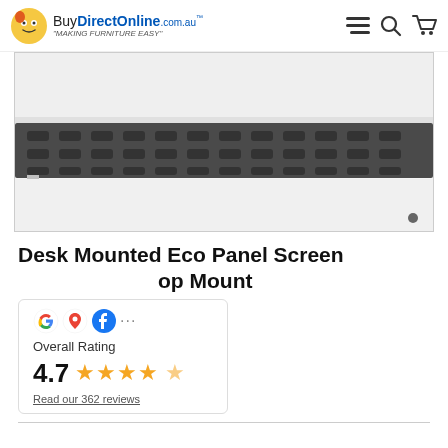BuyDirectOnline.com.au "MAKING FURNITURE EASY"
[Figure (photo): Close-up photo of a desk-mounted eco panel screen showing the underside with perforated metal rail and white desktop surface]
Desk Mounted Eco Panel Screen op Mount
Overall Rating 4.7 ★★★★★ Read our 362 reviews